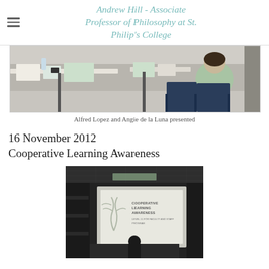Andrew Hill - Associate Professor of Philosophy at St. Philip's College
[Figure (photo): Classroom scene with students sitting at desks, one student visible from behind wearing a light green shirt]
Alfred Lopez and Angie de la Luna presented
16 November 2012
Cooperative Learning Awareness
[Figure (photo): Presentation room with a projector screen showing 'Cooperative Learning Awareness' slide, dark room with ceiling tiles visible]